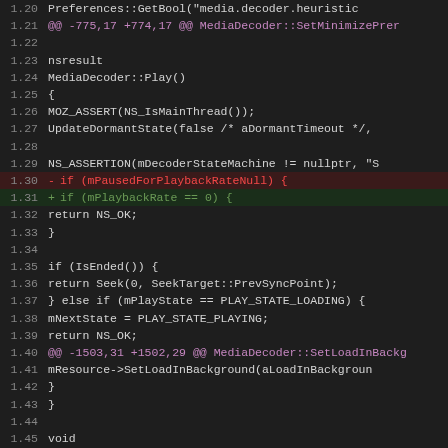[Figure (screenshot): Code diff view showing C++ source code for MediaDecoder class with line numbers, diff markers (+ and -), and syntax highlighting in dark theme. Lines 1.20 through 1.51 visible.]